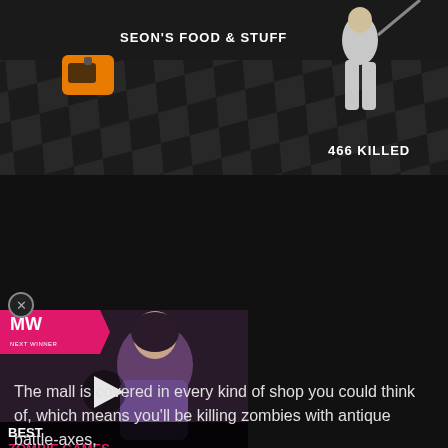[Figure (screenshot): Video game screenshot showing a mall environment with checkered floor, a character walking, an orange item on the ground with 'SEON'S FOOD & STUFF' label in top-left, and '466 KILLED' counter in bottom-right.]
[Figure (screenshot): Video widget/advertisement from MW (MuchWanted/NextWanted) showing a zombie game thumbnail with a female character, a play button, and text 'BEST ZOMBIE GAMES' with a pink/magenta banner logo.]
The mall is covered in every kind of shop you could think of, which means you'll be killing zombies with antique battle-axes,